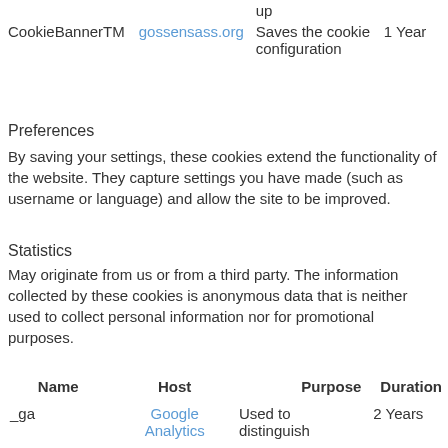| Name | Host | Purpose | Duration |
| --- | --- | --- | --- |
| CookieBannerTM | gossensass.org | Saves the cookie configuration | 1 Year |
Preferences
By saving your settings, these cookies extend the functionality of the website. They capture settings you have made (such as username or language) and allow the site to be improved.
Statistics
May originate from us or from a third party. The information collected by these cookies is anonymous data that is neither used to collect personal information nor for promotional purposes.
| Name | Host | Purpose | Duration |
| --- | --- | --- | --- |
| _ga | Google Analytics | Used to distinguish | 2 Years |